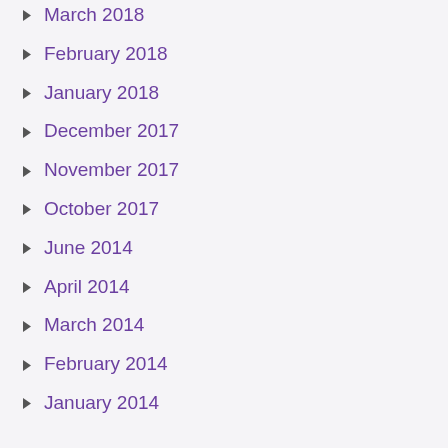March 2018
February 2018
January 2018
December 2017
November 2017
October 2017
June 2014
April 2014
March 2014
February 2014
January 2014